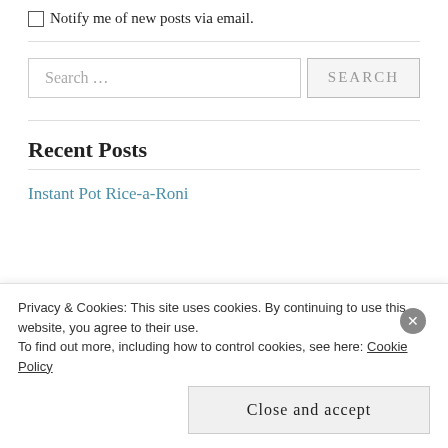Notify me of new posts via email.
Search …
Recent Posts
Instant Pot Rice-a-Roni
Privacy & Cookies: This site uses cookies. By continuing to use this website, you agree to their use.
To find out more, including how to control cookies, see here: Cookie Policy
Close and accept